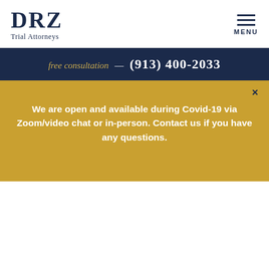DRZ Trial Attorneys | MENU
free consultation — (913) 400-2033
Public Schools Will Not Help Student Victims of Sexual Abuse
We are open and available during Covid-19 via Zoom/video chat or in-person. Contact us if you have any questions.